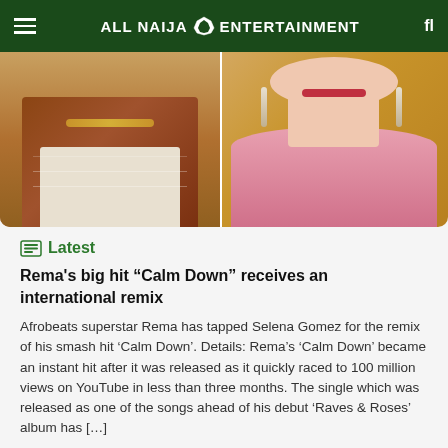ALL NAIJA ENTERTAINMENT
[Figure (photo): Split image: left side shows a person wearing a brown patterned vest/jacket with a white t-shirt and bead necklace; right side shows a woman in a pink top with chandelier earrings and red lipstick.]
Latest
Rema's big hit “Calm Down” receives an international remix
Afrobeats superstar Rema has tapped Selena Gomez for the remix of his smash hit ‘Calm Down’. Details: Rema’s ‘Calm Down’ became an instant hit after it was released as it quickly raced to 100 million views on YouTube in less than three months. The single which was released as one of the songs ahead of his debut ‘Raves & Roses’ album has […]
10 min